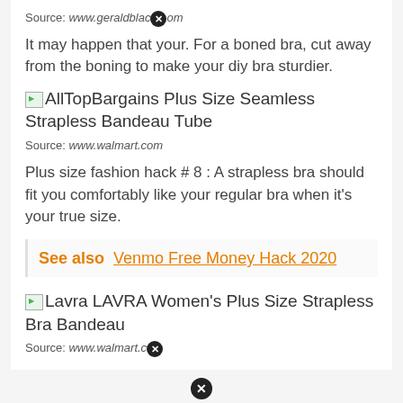Source: www.geraldblack.om
It may happen that your. For a boned bra, cut away from the boning to make your diy bra sturdier.
[Figure (photo): AllTopBargains Plus Size Seamless Strapless Bandeau Tube product image placeholder]
Source: www.walmart.com
Plus size fashion hack # 8 : A strapless bra should fit you comfortably like your regular bra when it's your true size.
See also  Venmo Free Money Hack 2020
[Figure (photo): Lavra LAVRA Women's Plus Size Strapless Bra Bandeau product image placeholder]
Source: www.walmart.com